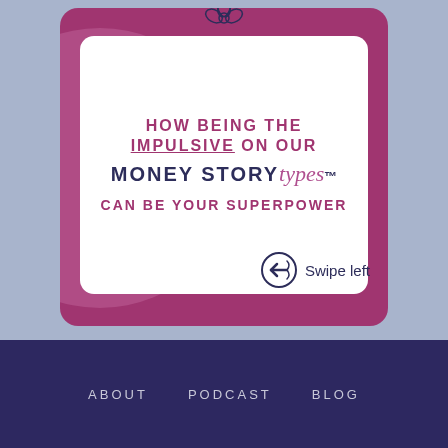[Figure (illustration): Social media card with magenta/purple background showing text: HOW BEING THE IMPULSIVE ON OUR MONEY STORYtypes™ CAN BE YOUR SUPERPOWER, with a flower icon at top and 'Swipe left' prompt at bottom right]
Swipe left
ABOUT   PODCAST   BLOG